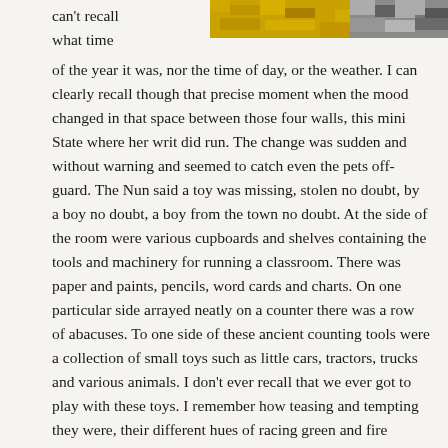can't recall
what time
[Figure (photo): Textured image split into two sections — left portion shows a yellow/golden grainy texture, right portion shows a black and white grainy texture]
of the year it was, nor the time of day, or the weather. I can clearly recall though that precise moment when the mood changed in that space between those four walls, this mini State where her writ did run. The change was sudden and without warning and seemed to catch even the pets off-guard. The Nun said a toy was missing, stolen no doubt, by a boy no doubt, a boy from the town no doubt. At the side of the room were various cupboards and shelves containing the tools and machinery for running a classroom. There was paper and paints, pencils, word cards and charts. On one particular side arrayed neatly on a counter there was a row of abacuses. To one side of these ancient counting tools were a collection of small toys such as little cars, tractors, trucks and various animals. I don't ever recall that we ever got to play with these toys. I remember how teasing and tempting they were, their different hues of racing green and fire engine red, distracting us from the lessons been drummed into us